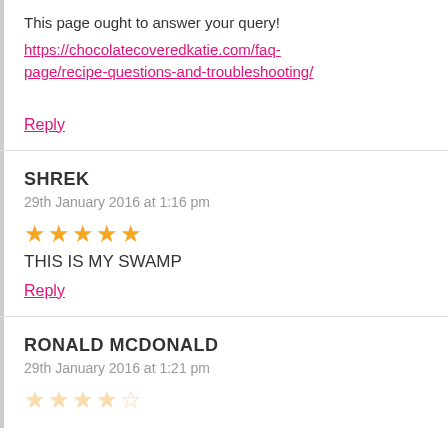This page ought to answer your query!
https://chocolatecoveredkatie.com/faq-page/recipe-questions-and-troubleshooting/
Reply
SHREK
29th January 2016 at 1:16 pm
★★★★★
THIS IS MY SWAMP
Reply
RONALD MCDONALD
29th January 2016 at 1:21 pm
★★★★☆